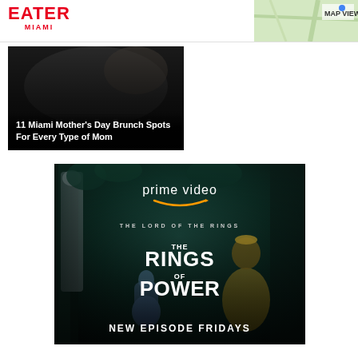EATER MIAMI
MAP VIEW
[Figure (screenshot): Article card with dark food photo background showing headline: 11 Miami Mother's Day Brunch Spots For Every Type of Mom]
11 Miami Mother's Day Brunch Spots For Every Type of Mom
[Figure (photo): Amazon Prime Video advertisement for The Lord of the Rings: The Rings of Power. Shows two female characters in a dark forest setting with stone statue. Text reads: prime video, THE LORD OF THE RINGS, THE RINGS OF POWER, NEW EPISODE FRIDAYS]